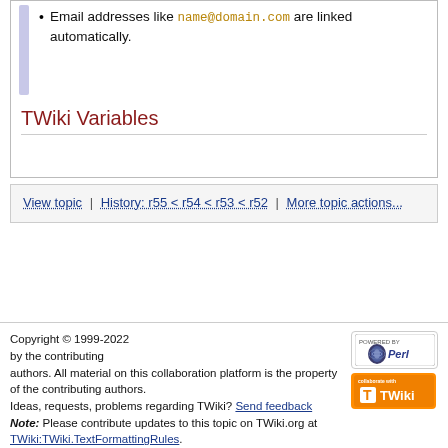Email addresses like name@domain.com are linked automatically.
TWiki Variables
View topic | History: r55 < r54 < r53 < r52 | More topic actions...
Copyright © 1999-2022 by the contributing authors. All material on this collaboration platform is the property of the contributing authors. Ideas, requests, problems regarding TWiki? Send feedback Note: Please contribute updates to this topic on TWiki.org at TWiki:TWiki.TextFormattingRules.